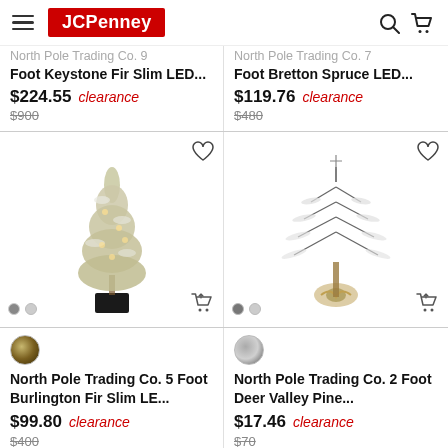JCPenney
North Pole Trading Co. 9 Foot Keystone Fir Slim LED... $224.55 clearance $900
North Pole Trading Co. 7 Foot Bretton Spruce LED... $119.76 clearance $480
[Figure (photo): Flocked slim Christmas tree with warm LED lights in a black square pot]
[Figure (photo): Snowy sparse pine tree with burlap-style base]
North Pole Trading Co. 5 Foot Burlington Fir Slim LE... $99.80 clearance $400
North Pole Trading Co. 2 Foot Deer Valley Pine... $17.46 clearance $70